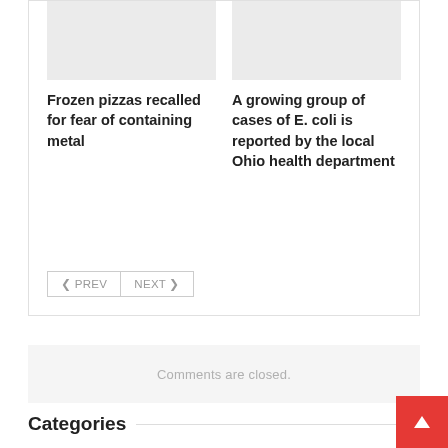[Figure (photo): Placeholder image for article about frozen pizzas recalled for fear of containing metal]
[Figure (photo): Placeholder image for article about growing group of E. coli cases reported by local Ohio health department]
Frozen pizzas recalled for fear of containing metal
A growing group of cases of E. coli is reported by the local Ohio health department
< PREV  NEXT >
Comments are closed.
Categories
Cuisines
Dining Space